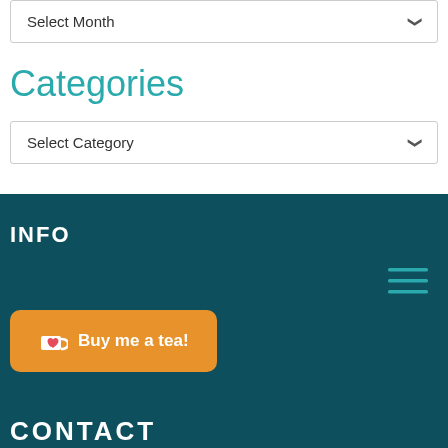Select Month
Categories
Select Category
INFO
[Figure (other): Hamburger menu icon with three teal horizontal lines]
[Figure (other): Buy me a tea button with cup icon on orange background]
CONTACT